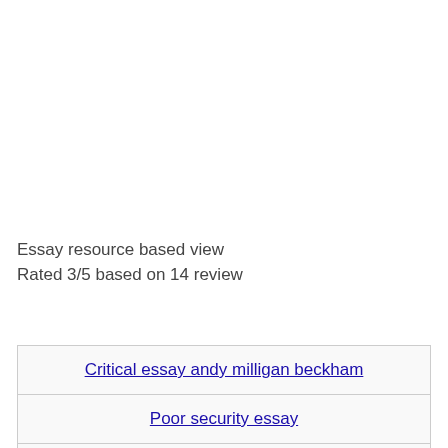Essay resource based view
Rated 3/5 based on 14 review
| Critical essay andy milligan beckham |
| Poor security essay |
| Bedford reader essays |